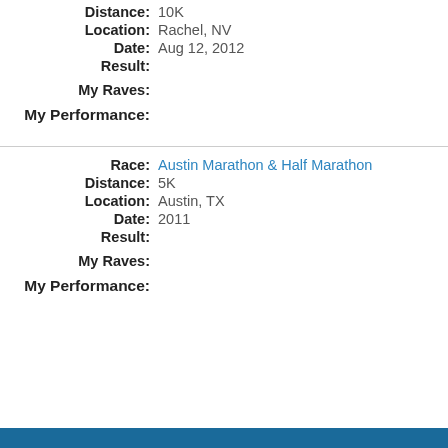Distance: 10K
Location: Rachel, NV
Date: Aug 12, 2012
Result:
My Raves:
My Performance:
Race: Austin Marathon & Half Marathon
Distance: 5K
Location: Austin, TX
Date: 2011
Result:
My Raves:
My Performance: